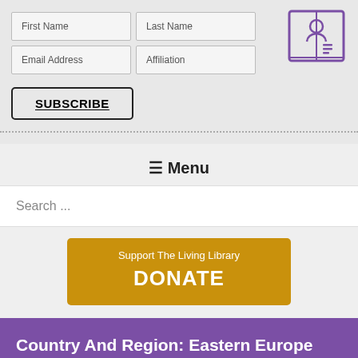[Figure (logo): Living Library logo: stylized book with a head silhouette icon, purple outline]
| First Name | Last Name |
| Email Address | Affiliation |
SUBSCRIBE
≡ Menu
Search ...
Support The Living Library
DONATE
Country And Region: Eastern Europe